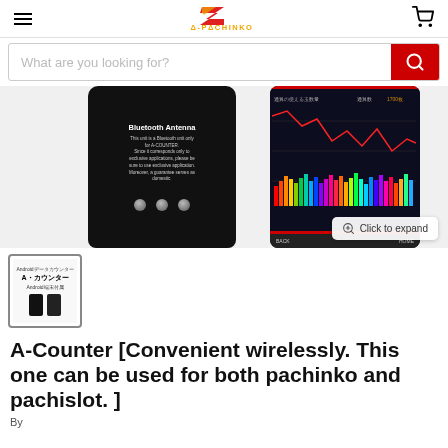A-PACHINKO
What are you looking for?
[Figure (photo): Product photo showing A-Counter device with Bluetooth Antenna label and a smartphone showing a colorful bar and line chart display. A 'Click to expand' button is visible.]
[Figure (photo): Thumbnail image of A-Counter product packaging showing 'AndroidデータカウンターA-カウンターAndroid端末付属']
A-Counter [Convenient wirelessly. This one can be used for both pachinko and pachislot. ]
By